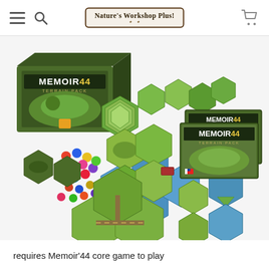Nature's Workshop Plus!
[Figure (photo): Product photo of Memoir '44 Terrain Pack board game showing the box, multiple books/rulebooks, hexagonal terrain tiles in various designs (green hills, blue water, roads), and many small colorful token pieces spread out on a white surface.]
requires Memoir’44 core game to play